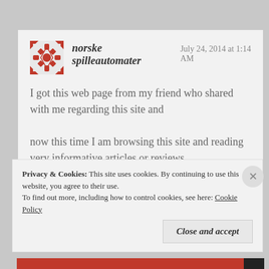norske spilleautomater   July 24, 2014 at 1:14 AM
I got this web page from my friend who shared with me regarding this site and now this time I am browsing this site and reading very informative articles or reviews at this time.
Like
Privacy & Cookies: This site uses cookies. By continuing to use this website, you agree to their use. To find out more, including how to control cookies, see here: Cookie Policy
Close and accept